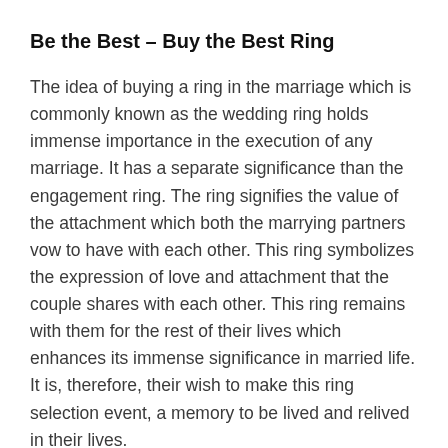Be the Best – Buy the Best Ring
The idea of buying a ring in the marriage which is commonly known as the wedding ring holds immense importance in the execution of any marriage. It has a separate significance than the engagement ring. The ring signifies the value of the attachment which both the marrying partners vow to have with each other. This ring symbolizes the expression of love and attachment that the couple shares with each other. This ring remains with them for the rest of their lives which enhances its immense significance in married life. It is, therefore, their wish to make this ring selection event, a memory to be lived and relived in their lives.
Considering the significance that the rings hold in the lives of the married couples, extreme care is taken in its selection and choice. Different factors impact people's